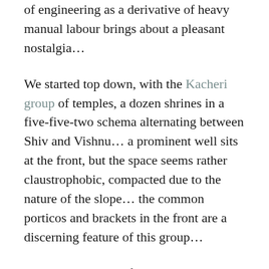of engineering as a derivative of heavy manual labour brings about a pleasant nostalgia…
We started top down, with the Kacheri group of temples, a dozen shrines in a five-five-two schema alternating between Shiv and Vishnu… a prominent well sits at the front, but the space seems rather claustrophobic, compacted due to the nature of the slope… the common porticos and brackets in the front are a discerning feature of this group…
Winding down, the footpath leads to Maniyan group, nine temples spread out comfortably on a flattened patch in contrast to Kacheri… imagery of Jain tirthankara make an entry here, carved on the lintels of the shrines, making the